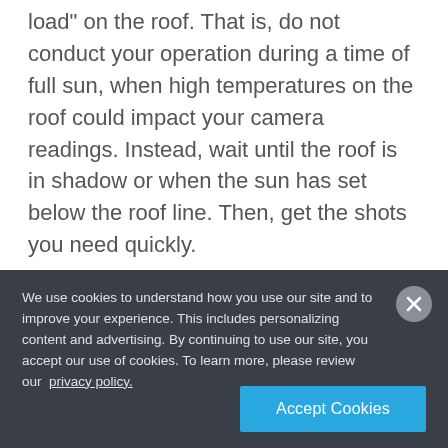load" on the roof. That is, do not conduct your operation during a time of full sun, when high temperatures on the roof could impact your camera readings. Instead, wait until the roof is in shadow or when the sun has set below the roof line. Then, get the shots you need quickly.
Weather and atmosphere can also affect your flight and data - There are a few optimal times and
We use cookies to understand how you use our site and to improve your experience. This includes personalizing content and advertising. By continuing to use our site, you accept our use of cookies. To learn more, please review our privacy policy.